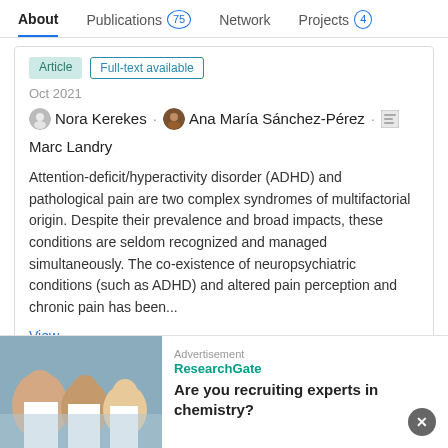About | Publications 75 | Network | Projects 4
Article  Full-text available
Oct 2021
Nora Kerekes · Ana María Sánchez-Pérez · Marc Landry
Attention-deficit/hyperactivity disorder (ADHD) and pathological pain are two complex syndromes of multifactorial origin. Despite their prevalence and broad impacts, these conditions are seldom recognized and managed simultaneously. The co-existence of neuropsychiatric conditions (such as ADHD) and altered pain perception and chronic pain has been...
View
[Figure (screenshot): Thumbnail images of article figures including bar charts and a table]
Advertisement
[Figure (photo): Scientists in lab coats in a laboratory setting]
ResearchGate
Are you recruiting experts in chemistry?